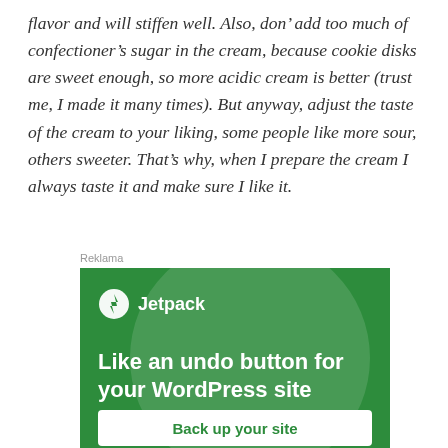flavor and will stiffen well. Also, don’ add too much of confectioner’s sugar in the cream, because cookie disks are sweet enough, so more acidic cream is better (trust me, I made it many times). But anyway, adjust the taste of the cream to your liking, some people like more sour, others sweeter. That’s why, when I prepare the cream I always taste it and make sure I like it.
Reklama
[Figure (other): Jetpack advertisement banner on green background with logo, headline 'Like an undo button for your WordPress site' and a 'Back up your site' button]